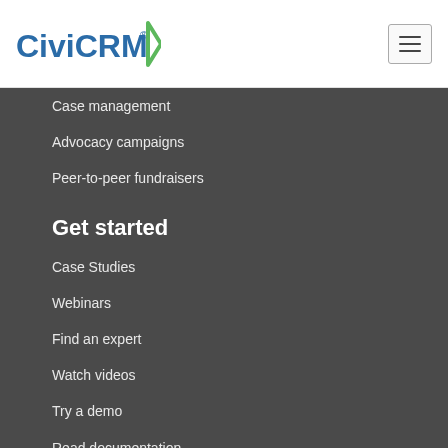[Figure (logo): CiviCRM logo with green arrow/play icon]
Case management
Advocacy campaigns
Peer-to-peer fundraisers
Get started
Case Studies
Webinars
Find an expert
Watch videos
Try a demo
Read documentation
Download
Extensions